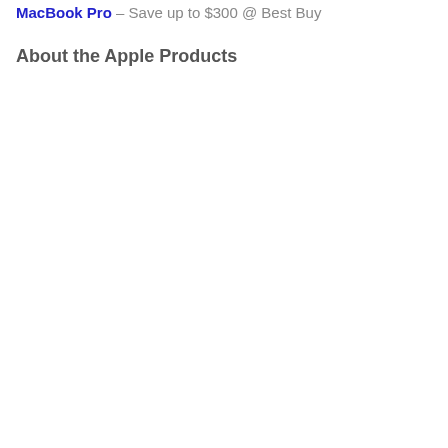MacBook Pro – Save up to $300 @ Best Buy
About the Apple Products